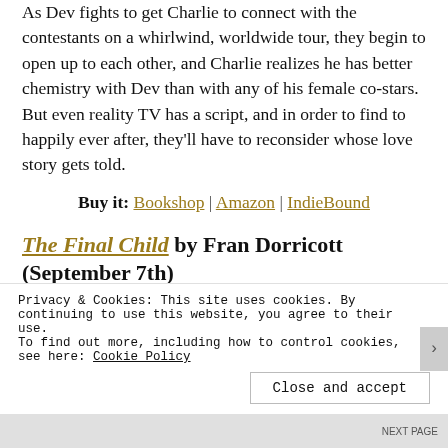As Dev fights to get Charlie to connect with the contestants on a whirlwind, worldwide tour, they begin to open up to each other, and Charlie realizes he has better chemistry with Dev than with any of his female co-stars. But even reality TV has a script, and in order to find to happily ever after, they'll have to reconsider whose love story gets told.
Buy it: Bookshop | Amazon | IndieBound
The Final Child by Fran Dorricott (September 7th)
[Figure (photo): Book cover of The Final Child with red lettering and a blurb that reads 'Written with insight and empathy as well as']
Erin and her brother Alex were the last children
Privacy & Cookies: This site uses cookies. By continuing to use this website, you agree to their use.
To find out more, including how to control cookies, see here: Cookie Policy
Close and accept